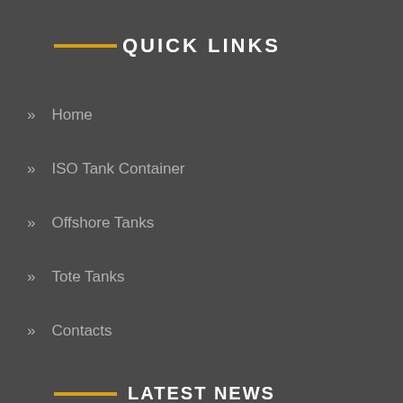QUICK LINKS
Home
ISO Tank Container
Offshore Tanks
Tote Tanks
Contacts
LATEST NEWS